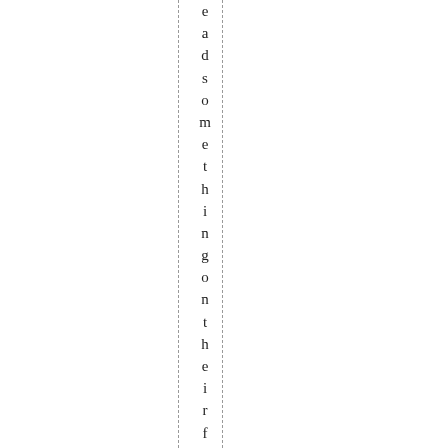eadsomethingontheirfeaturepaget